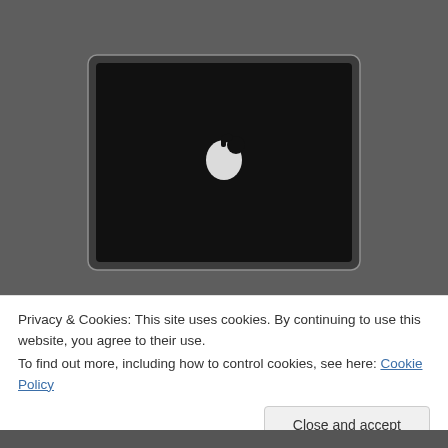[Figure (photo): A MacBook laptop with a glowing Apple logo on the lid, photographed from above against a dark gray background.]
Privacy & Cookies: This site uses cookies. By continuing to use this website, you agree to their use.
To find out more, including how to control cookies, see here: Cookie Policy
Close and accept